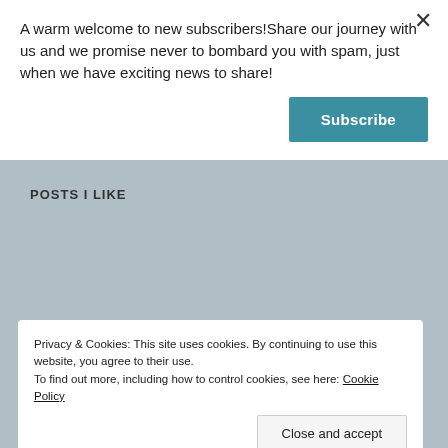A warm welcome to new subscribers!Share our journey with us and we promise never to bombard you with spam, just when we have exciting news to share!
Subscribe
[Figure (screenshot): Twitter card showing jaye marie & anita ... @jayda... · 8h with Twitter bird logo]
POSTS I LIKE
Privacy & Cookies: This site uses cookies. By continuing to use this website, you agree to their use.
To find out more, including how to control cookies, see here: Cookie Policy
Close and accept
on Anita Dawes and Jaye Marie